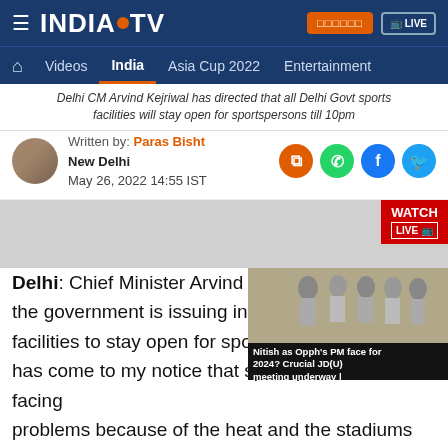INDIA TV — Navigation: Videos, India, Asia Cup 2022, Entertainment
Delhi CM Arvind Kejriwal has directed that all Delhi Govt sports facilities will stay open for sportspersons till 10pm
Written by: Paras Bisht
New Delhi
May 26, 2022 14:55 IST
[Figure (photo): Author avatar photo of Paras Bisht]
[Figure (screenshot): Inline video thumbnail: Nitish as Opph's PM face for 2024? Crucial JD(U) meeting underway]
Delhi: Chief Minister Arvind Ke... the government is issuing inst... facilities to stay open for sport... has come to my notice that sportspersons are facing problems because of the heat and the stadiums get closed by 6 or 7 pm. We are issuing instructions that